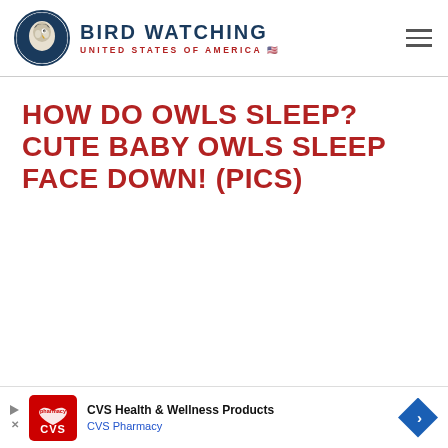BIRD WATCHING UNITED STATES OF AMERICA
HOW DO OWLS SLEEP? CUTE BABY OWLS SLEEP FACE DOWN! (PICS)
[Figure (infographic): CVS Health & Wellness Products advertisement banner at bottom of page]